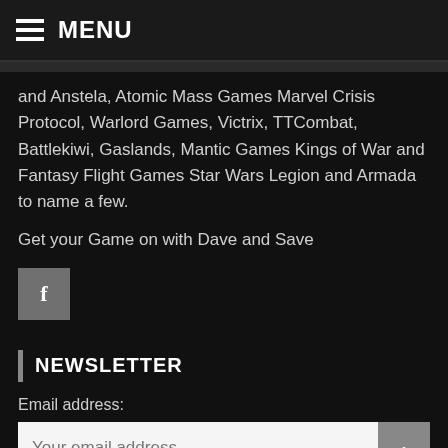MENU
and Anstela, Atomic Mass Games Marvel Crisis Protocol, Warlord Games, Victrix, TTCombat, Battlekiwi, Gaslands, Mantic Games Kings of War and Fantasy Flight Games Star Wars Legion and Armada to name a few.
Get your Game on with Dave and Save
[Figure (logo): Facebook icon button (grey square with white 'f' letter)]
NEWSLETTER
Email address:
Your email address
Sign up